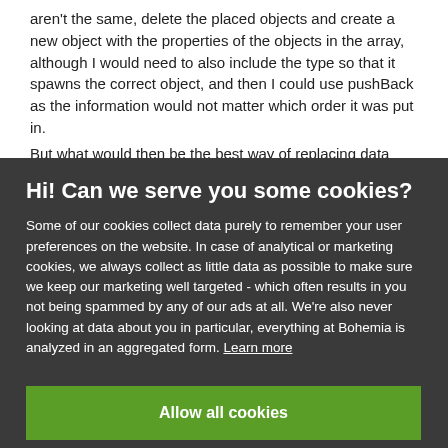aren't the same, delete the placed objects and create a new object with the properties of the objects in the array, although I would need to also include the type so that it spawns the correct object, and then I could use pushBack as the information would not matter which order it was put in.
But what would then be the best way of replacing data within the array when it needs updating?
Should I stick with the current method of assigning a name to each
Hi! Can we serve you some cookies?
Some of our cookies collect data purely to remember your user preferences on the website. In case of analytical or marketing cookies, we always collect as little data as possible to make sure we keep our marketing well targeted - which often results in you not being spammed by any of our ads at all. We're also never looking at data about you in particular, everything at Bohemia is analyzed in an aggregated form. Learn more
Allow all cookies
I want more options